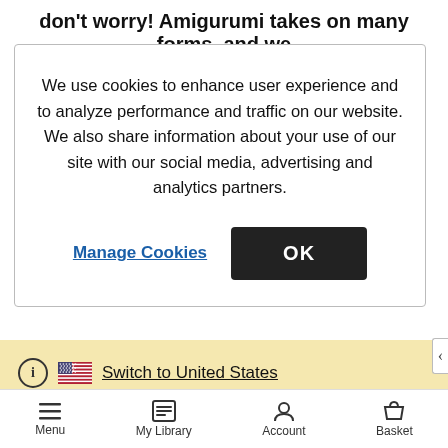don’t worry! Amigurumi takes on many forms, and we
We use cookies to enhance user experience and to analyze performance and traffic on our website. We also share information about your use of our site with our social media, advertising and analytics partners.
Manage Cookies
OK
Switch to United States
Stay on Australia
Menu
My Library
Account
Basket